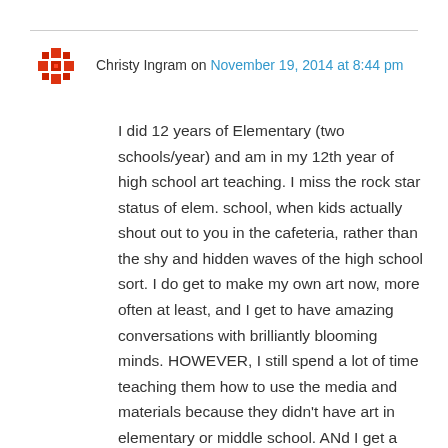Christy Ingram on November 19, 2014 at 8:44 pm
I did 12 years of Elementary (two schools/year) and am in my 12th year of high school art teaching. I miss the rock star status of elem. school, when kids actually shout out to you in the cafeteria, rather than the shy and hidden waves of the high school sort. I do get to make my own art now, more often at least, and I get to have amazing conversations with brilliantly blooming minds. HOWEVER, I still spend a lot of time teaching them how to use the media and materials because they didn't have art in elementary or middle school. ANd I get a Duke's mixture of kids who love art, want to do art, and the kids who got "PUT" in my room because they